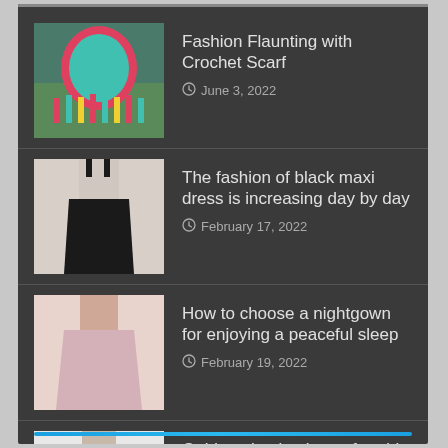Fashion Flaunting with Crochet Scarf
June 3, 2022
The fashion of black maxi dress is increasing day by day
February 17, 2022
How to choose a nightgown for enjoying a peaceful sleep
February 19, 2022
Guide to buying boots for girls
January 19, 2022
Get your custom T shirts made
February 25, 2022